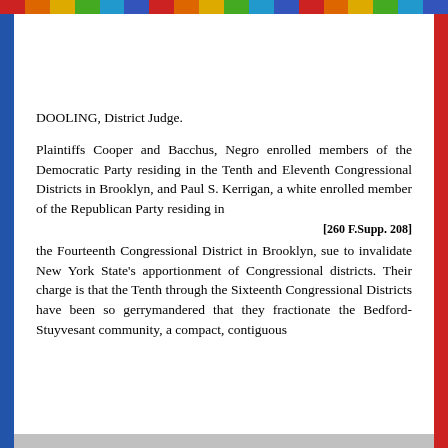DOOLING, District Judge.
Plaintiffs Cooper and Bacchus, Negro enrolled members of the Democratic Party residing in the Tenth and Eleventh Congressional Districts in Brooklyn, and Paul S. Kerrigan, a white enrolled member of the Republican Party residing in
[260 F.Supp. 208]
the Fourteenth Congressional District in Brooklyn, sue to invalidate New York State's apportionment of Congressional districts. Their charge is that the Tenth through the Sixteenth Congressional Districts have been so gerrymandered that they fractionate the Bedford-Stuyvesant community, a compact, contiguous